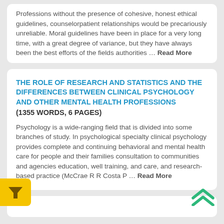Professions without the presence of cohesive, honest ethical guidelines, counselorpatient relationships would be precariously unreliable. Moral guidelines have been in place for a very long time, with a great degree of variance, but they have always been the best efforts of the fields authorities ... Read More
THE ROLE OF RESEARCH AND STATISTICS AND THE DIFFERENCES BETWEEN CLINICAL PSYCHOLOGY AND OTHER MENTAL HEALTH PROFESSIONS
(1355 WORDS, 6 PAGES)
Psychology is a wide-ranging field that is divided into some branches of study. In psychological specialty clinical psychology provides complete and continuing behavioral and mental health care for people and their families consultation to communities and agencies education, well training, and care, and research-based practice (McCrae R R Costa P ... Read More